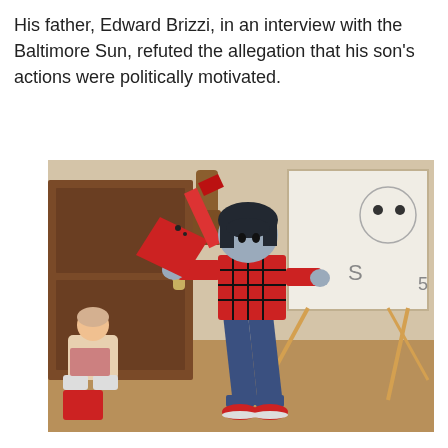His father, Edward Brizzi, in an interview with the Baltimore Sun, refuted the allegation that his son's actions were politically motivated.
[Figure (photo): A person cosplaying as Marceline from Adventure Time, wearing a red plaid shirt, jeans, red sneakers, and holding a red prop guitar. They stand in a wide stance in front of a brown door. A white easel with a drawing is visible on the right. A girl sits on the floor in the background on the left.]